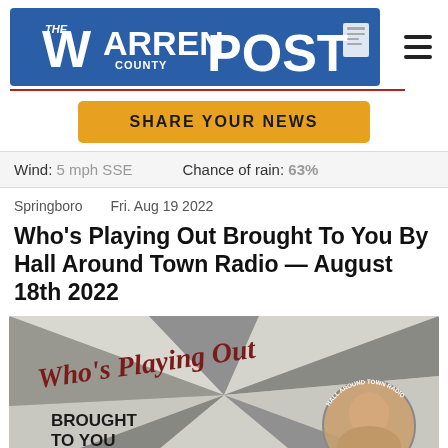The Warren County POST
SHARE YOUR NEWS
Wind: 5 mph SSE   Chance of rain: 63%
Springboro   Fri. Aug 19 2022
Who's Playing Out Brought To You By Hall Around Town Radio — August 18th 2022
[Figure (photo): Promotional graphic for 'Who's Playing Out Brought To You By Hall Around Town Radio' featuring cursive red text reading 'Who's Playing Out', bold text 'BROUGHT TO YOU BY', pinwheel geometric background in grey tones, and a circular photo of a man on the right side.]